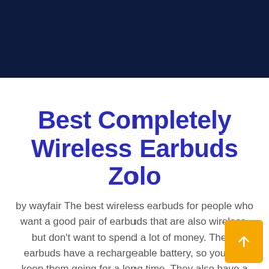[Figure (photo): Dark navy blue header banner area at the top of the page]
Best Completely Wireless Earbuds Zolo
by wayfair The best wireless earbuds for people who want a good pair of earbuds that are also wireless, but don't want to spend a lot of money. These earbuds have a rechargeable battery, so you can keep them going for a long time. They also have a built-in microphone, so you can take calls without